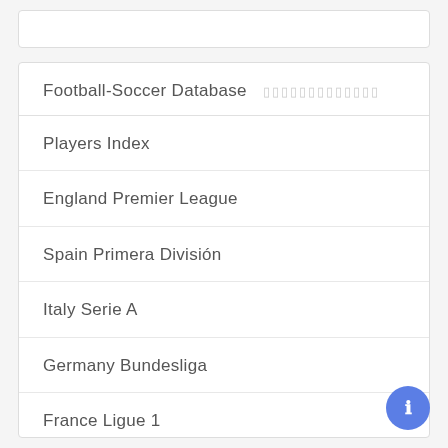Football-Soccer Database
Players Index
England Premier League
Spain Primera División
Italy Serie A
Germany Bundesliga
France Ligue 1